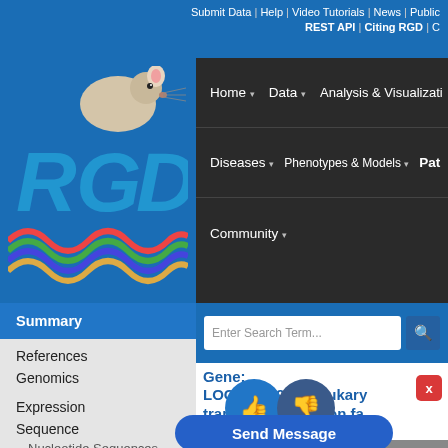Submit Data | Help | Video Tutorials | News | Public REST API | Citing RGD | C
[Figure (logo): RGD Rat Genome Database logo with rat image and colorful helix/wave design on blue background]
Home ▾   Data ▾   Analysis & Visualization
Diseases ▾   Phenotypes & Models ▾   Pat
Community ▾
Summary
References
Genomics
QTLs in Region (mRatBN7.2)
Expression
Sequence
Nucleotide Sequences
Strain Variation
Gene: LOC108349976 (eukaryotic translation initiation fa 1 pseudogene) Rattus norvegicus
| Field | Value |
| --- | --- |
| Symbol: | LOC108349976 |
| Name: | eukaryotic translation initiation initi |
| RGD ID: | 11380439 |
| Description: |  |